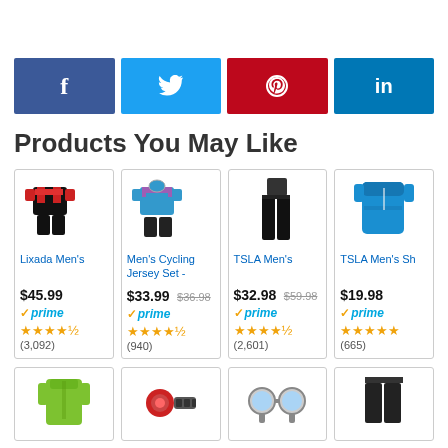[Figure (infographic): Social media share buttons: Facebook (blue), Twitter (light blue), Pinterest (red), LinkedIn (dark blue)]
Products You May Like
[Figure (infographic): Product card: Lixada Men's cycling jersey set image — black/red jersey and shorts]
[Figure (infographic): Product card: Men's Cycling Jersey Set - blue/pink jersey and shorts]
[Figure (infographic): Product card: TSLA Men's cycling pants — black]
[Figure (infographic): Product card: TSLA Men's Short Sleeve jersey — blue (partially visible)]
[Figure (infographic): Bottom row product cards: green jacket, bike light/accessory, handlebar mirrors, dark pants (partially visible)]